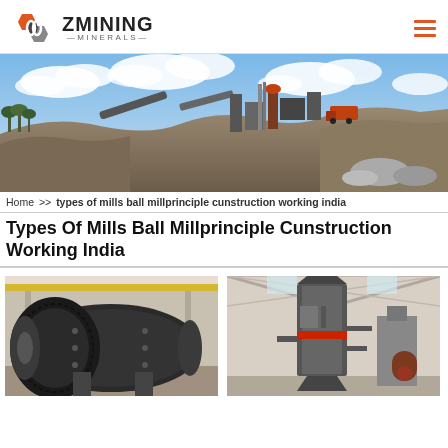ZMINING MINERALS
[Figure (photo): Panoramic view of an open-pit mining site with heavy equipment, conveyor belts, processing plant structures, and cloudy blue sky]
Home >> types of mills ball millprinciple cunstruction working india
Types Of Mills Ball Millprinciple Cunstruction Working India
[Figure (photo): Large industrial ball mill with gear ring drive mechanism in a factory/workshop setting]
[Figure (photo): Tall vertical grinding mill machine inside a large industrial warehouse/factory building]